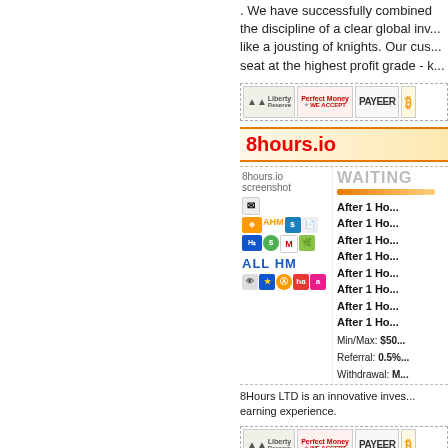. We have successfully combined the discipline of a clear global inv... like a jousting of knights. Our cus... seat at the highest profit grade - k...
[Figure (infographic): Row of payment processor badges: Liberty Reserve, Perfect Money (WE ACCEPT), PAYEER, Bitcoin]
8hours.io
[Figure (screenshot): 8hours.io screenshot thumbnail with WAITING status badge, orange progress bar, and multiple plan lines starting with 'After 1 Ho...' repeated 8 times. Min/Max: $50x, Referral: 0.5%, Withdrawal: M...]
8Hours LTD is an innovative inves... earning experience.
[Figure (infographic): Row of payment processor badges: Liberty Reserve, Perfect Money (WE ACCEPT), PAYEER, Bitcoin]